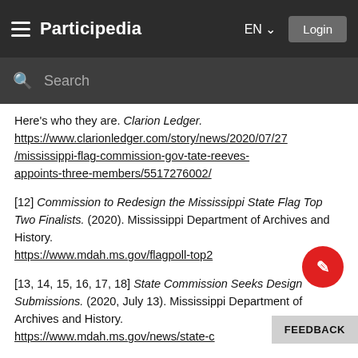Participedia  EN  Login
Search
Here's who they are. Clarion Ledger. https://www.clarionledger.com/story/news/2020/07/27/mississippi-flag-commission-gov-tate-reeves-appoints-three-members/5517276002/
[12] Commission to Redesign the Mississippi State Flag Top Two Finalists. (2020). Mississippi Department of Archives and History. https://www.mdah.ms.gov/flagpoll-top2
[13, 14, 15, 16, 17, 18] State Commission Seeks Design Submissions. (2020, July 13). Mississippi Department of Archives and History. https://www.mdah.ms.gov/news/state-c...